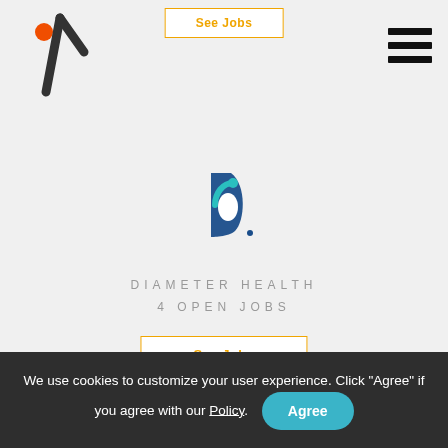[Figure (logo): Site logo with orange dot and white/black checkmark slash mark on left side of nav bar]
See Jobs
[Figure (other): Hamburger menu icon (three horizontal lines) on right side of nav bar]
[Figure (logo): Diameter Health logo - blue letter d with teal circular accent]
DIAMETER HEALTH
4 OPEN JOBS
See Jobs
[Figure (logo): Digital Diagnostics logo - teal/green circular ring shape]
• DIGITAL DIAG...
9 OPEN JOBS
We use cookies to customize your user experience. Click "Agree" if you agree with our Policy.